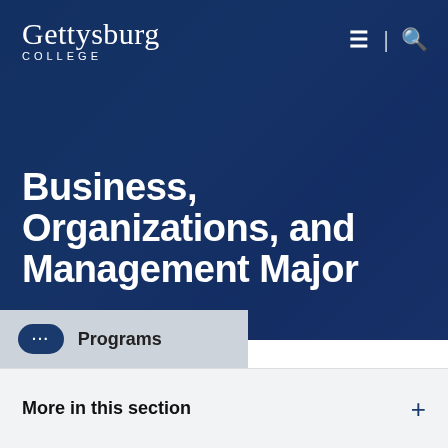[Figure (screenshot): Gettysburg College website header with dark blue hero background and partially visible background photo of a person]
Gettysburg College
Business, Organizations, and Management Major
... Programs
More in this section +